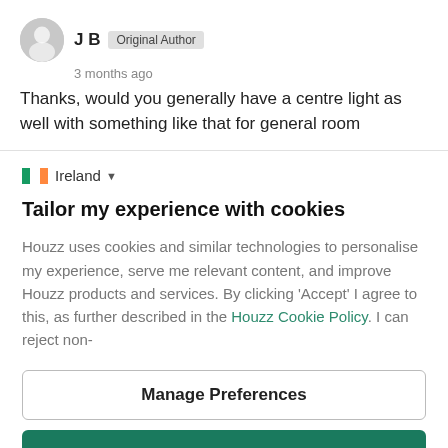[Figure (illustration): User avatar: circular grey silhouette icon]
J B  Original Author
3 months ago
Thanks, would you generally have a centre light as well with something like that for general room
[Figure (illustration): Ireland flag icon followed by text 'Ireland' with dropdown arrow]
Tailor my experience with cookies
Houzz uses cookies and similar technologies to personalise my experience, serve me relevant content, and improve Houzz products and services. By clicking 'Accept' I agree to this, as further described in the Houzz Cookie Policy. I can reject non-
Manage Preferences
Accept